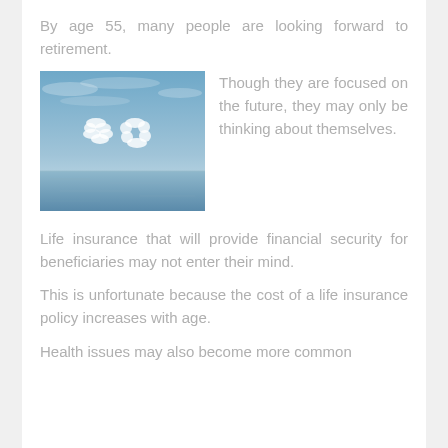By age 55, many people are looking forward to retirement.
[Figure (photo): Photo of the number '50' formed by clouds in a blue sky above a calm sea horizon.]
Though they are focused on the future, they may only be thinking about themselves.
Life insurance that will provide financial security for beneficiaries may not enter their mind.
This is unfortunate because the cost of a life insurance policy increases with age.
Health issues may also become more common